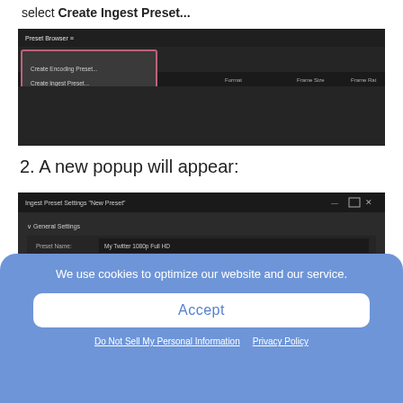select Create Ingest Preset...
[Figure (screenshot): Screenshot of Adobe Media Encoder Preset Browser with dropdown menu showing 'Create Encoding Preset...' and 'Create Ingest Preset...' options highlighted with a pink/red border.]
2. A new popup will appear:
[Figure (screenshot): Screenshot of Ingest Preset Settings 'New Preset' dialog with General Settings section showing Preset Name and Comments fields both filled with 'My Twitter 1080p Full HD'.]
We use cookies to optimize our website and our service.
Accept
Do Not Sell My Personal Information  Privacy Policy